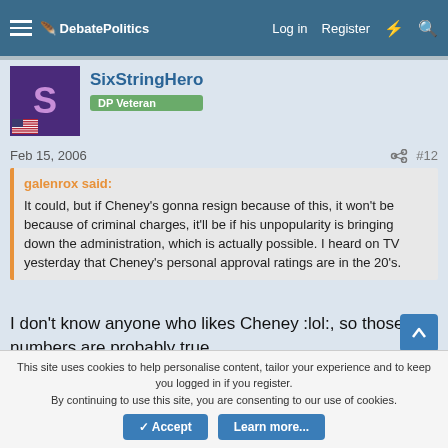DebatePolitics — Log in  Register
[Figure (other): User avatar: purple square with letter S for SixStringHero, US flag at bottom left]
SixStringHero
DP Veteran
Feb 15, 2006  #12
galenrox said:
It could, but if Cheney's gonna resign because of this, it won't be because of criminal charges, it'll be if his unpopularity is bringing down the administration, which is actually possible. I heard on TV yesterday that Cheney's personal approval ratings are in the 20's.
I don't know anyone who likes Cheney :lol:, so those numbers are probably true.
This site uses cookies to help personalise content, tailor your experience and to keep you logged in if you register.
By continuing to use this site, you are consenting to our use of cookies.